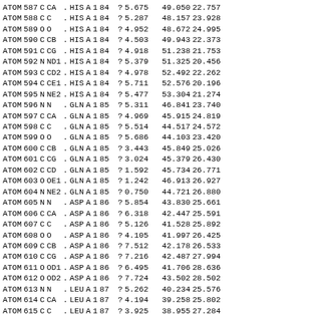| ATOM | 587 | C | CA | . | HIS | A | 1 | 84 | ? | 5.675 | 49.050 | 22.757 |
| ATOM | 588 | C | C | . | HIS | A | 1 | 84 | ? | 5.287 | 48.157 | 23.928 |
| ATOM | 589 | O | O | . | HIS | A | 1 | 84 | ? | 4.952 | 48.672 | 24.995 |
| ATOM | 590 | C | CB | . | HIS | A | 1 | 84 | ? | 4.503 | 49.943 | 22.373 |
| ATOM | 591 | C | CG | . | HIS | A | 1 | 84 | ? | 4.918 | 51.238 | 21.753 |
| ATOM | 592 | N | ND1 | . | HIS | A | 1 | 84 | ? | 5.379 | 51.325 | 20.456 |
| ATOM | 593 | C | CD2 | . | HIS | A | 1 | 84 | ? | 4.978 | 52.492 | 22.262 |
| ATOM | 594 | C | CE1 | . | HIS | A | 1 | 84 | ? | 5.711 | 52.576 | 20.196 |
| ATOM | 595 | N | NE2 | . | HIS | A | 1 | 84 | ? | 5.477 | 53.304 | 21.274 |
| ATOM | 596 | N | N | . | GLN | A | 1 | 85 | ? | 5.311 | 46.841 | 23.740 |
| ATOM | 597 | C | CA | . | GLN | A | 1 | 85 | ? | 4.969 | 45.915 | 24.819 |
| ATOM | 598 | C | C | . | GLN | A | 1 | 85 | ? | 5.514 | 44.517 | 24.572 |
| ATOM | 599 | O | O | . | GLN | A | 1 | 85 | ? | 5.686 | 44.103 | 23.420 |
| ATOM | 600 | C | CB | . | GLN | A | 1 | 85 | ? | 3.443 | 45.849 | 25.026 |
| ATOM | 601 | C | CG | . | GLN | A | 1 | 85 | ? | 3.024 | 45.379 | 26.430 |
| ATOM | 602 | C | CD | . | GLN | A | 1 | 85 | ? | 1.592 | 45.734 | 26.771 |
| ATOM | 603 | O | OE1 | . | GLN | A | 1 | 85 | ? | 1.242 | 46.913 | 26.927 |
| ATOM | 604 | N | NE2 | . | GLN | A | 1 | 85 | ? | 0.750 | 44.721 | 26.880 |
| ATOM | 605 | N | N | . | ASP | A | 1 | 86 | ? | 5.854 | 43.830 | 25.661 |
| ATOM | 606 | C | CA | . | ASP | A | 1 | 86 | ? | 6.318 | 42.447 | 25.591 |
| ATOM | 607 | C | C | . | ASP | A | 1 | 86 | ? | 5.126 | 41.528 | 25.892 |
| ATOM | 608 | O | O | . | ASP | A | 1 | 86 | ? | 4.105 | 41.997 | 26.425 |
| ATOM | 609 | C | CB | . | ASP | A | 1 | 86 | ? | 7.512 | 42.178 | 26.533 |
| ATOM | 610 | C | CG | . | ASP | A | 1 | 86 | ? | 7.216 | 42.487 | 27.994 |
| ATOM | 611 | O | OD1 | . | ASP | A | 1 | 86 | ? | 6.495 | 41.706 | 28.636 |
| ATOM | 612 | O | OD2 | . | ASP | A | 1 | 86 | ? | 7.724 | 43.502 | 28.502 |
| ATOM | 613 | N | N | . | LEU | A | 1 | 87 | ? | 5.262 | 40.234 | 25.576 |
| ATOM | 614 | C | CA | . | LEU | A | 1 | 87 | ? | 4.194 | 39.258 | 25.802 |
| ATOM | 615 | C | C | . | LEU | A | 1 | 87 | ? | 3.925 | 38.955 | 27.284 |
| ATOM | 616 | O | O | . | LEU | A | 1 | 87 | ? | 2.781 | 38.683 | 27.652 |